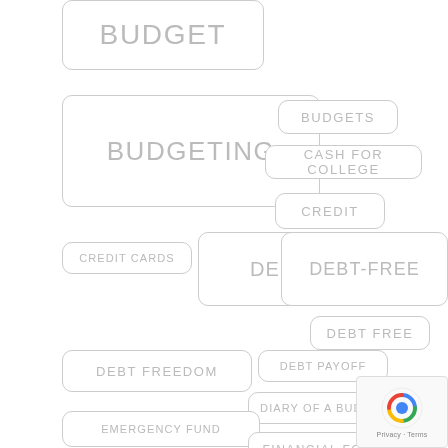[Figure (infographic): Tag cloud / keyword map of personal finance topics including BUDGET, BUDGETING, BUDGETS, CASH FOR COLLEGE, CREDIT, CREDIT CARDS, DEBT, DEBT-FREE, DEBT FREE, DEBT FREEDOM, DEBT PAYOFF, DIARY OF A BUDGETER, EMERGENCY FUND, FINANCIAL, FINANCIAL FOUNDATION, shown as rounded-rectangle pill boxes of varying sizes on a white background.]